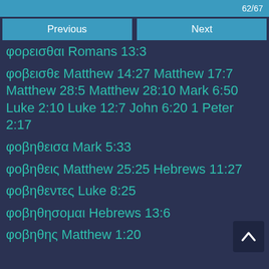62/67
Previous
Next
φορεισθαι Romans 13:3
φοβεισθε Matthew 14:27 Matthew 17:7 Matthew 28:5 Matthew 28:10 Mark 6:50 Luke 2:10 Luke 12:7 John 6:20 1 Peter 2:17
φοβηθεισα Mark 5:33
φοβηθεις Matthew 25:25 Hebrews 11:27
φοβηθεντες Luke 8:25
φοβηθησομαι Hebrews 13:6
φοβηθης Matthew 1:20